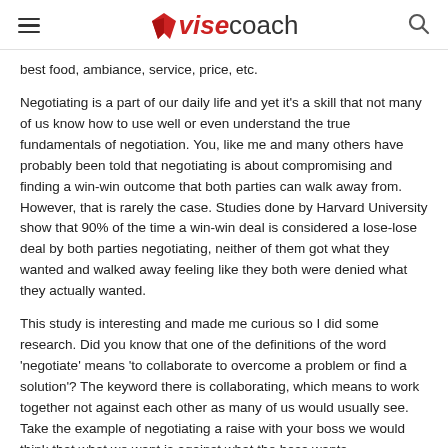ViseCoach
best food, ambiance, service, price, etc.
Negotiating is a part of our daily life and yet it's a skill that not many of us know how to use well or even understand the true fundamentals of negotiation. You, like me and many others have probably been told that negotiating is about compromising and finding a win-win outcome that both parties can walk away from. However, that is rarely the case. Studies done by Harvard University show that 90% of the time a win-win deal is considered a lose-lose deal by both parties negotiating, neither of them got what they wanted and walked away feeling like they both were denied what they actually wanted.
This study is interesting and made me curious so I did some research. Did you know that one of the definitions of the word 'negotiate' means 'to collaborate to overcome a problem or find a solution'? The keyword there is collaborating, which means to work together not against each other as many of us would usually see. Take the example of negotiating a raise with your boss we would think that what we want is against what the boss wants